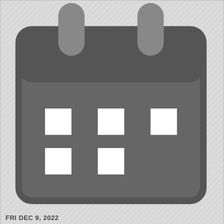FRI DEC 9, 2022
[Figure (illustration): Silhouette of singer with microphone on tan/brown background]
TICKETS
40 tickets left starting from $22.00
STAYIN' ALIVE - A SALUTE TO THE MUSIC OF THE BEE GEES
Venue: Robins Theatre
Time: 8:00 PM
Featuring: Stayin' Alive - A Salute to the Music of The Bee Gees
SAT DEC 10, 2022
[Figure (illustration): Silhouette of singer with microphone on tan/brown background]
TICKETS
36 tickets left starting from $85.00
FIRST SNOW - TRANS SIBERIAN ORCHESTRA TRIBUTE
Venue: Robins Theatre
Time: 8:00 PM
Featuring: First Snow - Trans Siberian Orchestra Tribute
FRI JAN 20, 2023
[Figure (illustration): Silhouette of singer with microphone on tan/brown background]
TICKETS
104 tickets left starting from $38.00
GEORGE MICHAEL REBORN - A TRIBUTE TO WHAM AND GEORGE